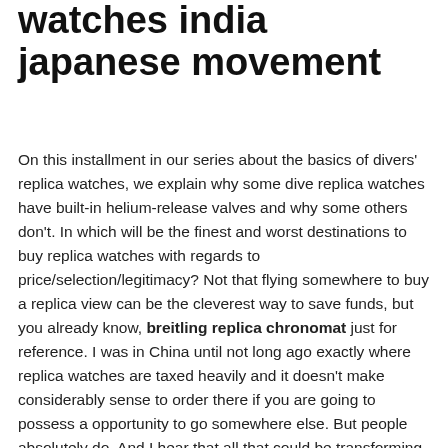watches india japanese movement
On this installment in our series about the basics of divers' replica watches, we explain why some dive replica watches have built-in helium-release valves and why some others don't. In which will be the finest and worst destinations to buy replica watches with regards to price/selection/legitimacy? Not that flying somewhere to buy a replica view can be the cleverest way to save funds, but you already know, breitling replica chronomat just for reference. I was in China until not long ago exactly where replica watches are taxed heavily and it doesn't make considerably sense to order there if you are going to possess a opportunity to go somewhere else. But people absolutely do. And I hear that all that could be transforming in China soon. From our archives, here is a hands-on evaluate from the new-look Breitling Colt.